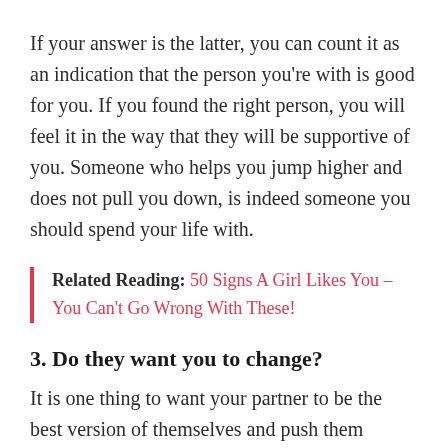If your answer is the latter, you can count it as an indication that the person you're with is good for you. If you found the right person, you will feel it in the way that they will be supportive of you. Someone who helps you jump higher and does not pull you down, is indeed someone you should spend your life with.
Related Reading: 50 Signs A Girl Likes You – You Can't Go Wrong With These!
3. Do they want you to change?
It is one thing to want your partner to be the best version of themselves and push them